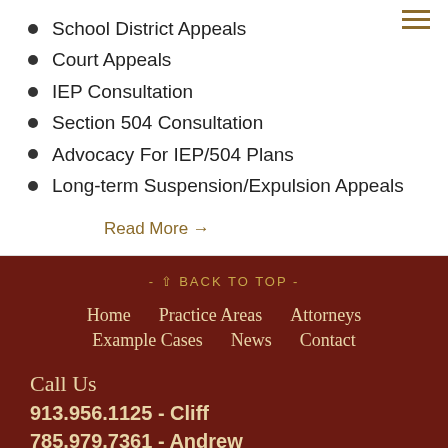School District Appeals
Court Appeals
IEP Consultation
Section 504 Consultation
Advocacy For IEP/504 Plans
Long-term Suspension/Expulsion Appeals
Read More →
- ↑ BACK TO TOP -
Home   Practice Areas   Attorneys
Example Cases   News   Contact
Call Us
913.956.1125 - Cliff
785.979.7361 - Andrew
See Contact Tab For Instructions